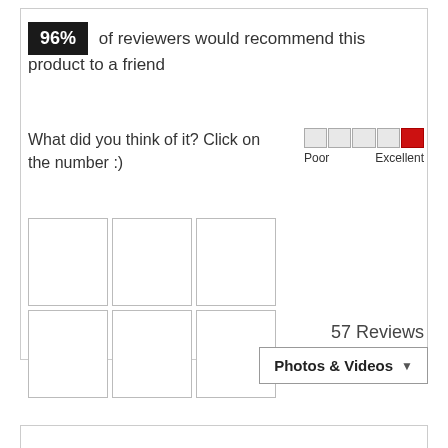96% of reviewers would recommend this product to a friend
What did you think of it? Click on the number :)
[Figure (other): Rating slider widget showing Poor to Excellent scale with last segment highlighted in red]
[Figure (other): Grid of 6 photo thumbnail placeholders (2 rows x 3 columns), last thumbnail shown as stacked pages]
57 Reviews
Photos & Videos